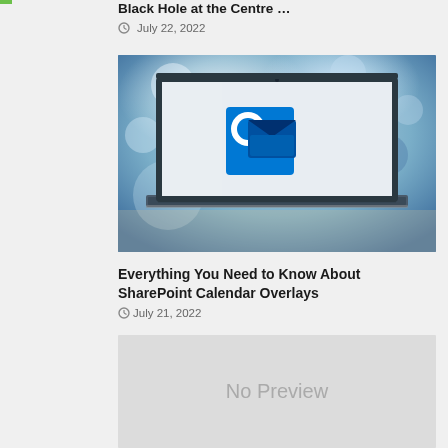Black Hole at the Centre ...
July 22, 2022
[Figure (photo): Laptop computer displaying Microsoft Outlook logo on screen, blurred trade show or conference background]
Everything You Need to Know About SharePoint Calendar Overlays
July 21, 2022
[Figure (photo): No Preview placeholder image with light gray background]